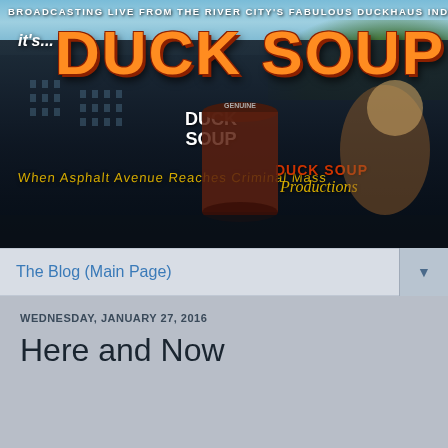[Figure (illustration): Duck Soup Productions banner image showing a dark industrial building complex with the text 'Broadcasting LIVE from the River City's fabulous DUCKHAUS Industrial Complex' at top, large orange 'DUCK SOUP' title logo, cartoon duck mascot character, a large can labeled 'DUCK SOUP', and 'Duck Soup Productions' text overlay on a dark moody background with blue sky and green hills.]
The Blog (Main Page)
WEDNESDAY, JANUARY 27, 2016
Here and Now